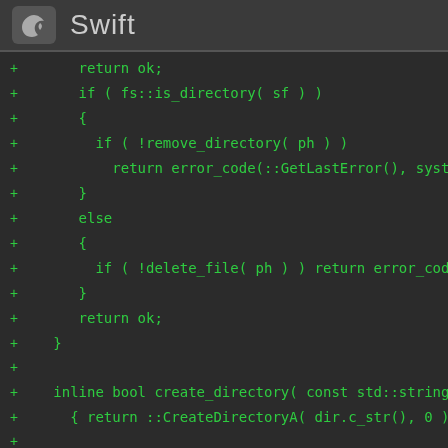Swift
[Figure (screenshot): Swift logo icon - bird silhouette on grey rounded square background]
+       return ok;
+       if ( fs::is_directory( sf ) )
+       {
+         if ( !remove_directory( ph ) )
+           return error_code(::GetLastError(), system_
+       }
+       else
+       {
+         if ( !delete_file( ph ) ) return error_code(:
+       }
+       return ok;
+   }
+
+   inline bool create_directory( const std::string &
+     { return ::CreateDirectoryA( dir.c_str(), 0 )
+
+   template<class String>
+   boost::filesystem::detail::query_pair
+   create_directory_template( const String & dir_ph